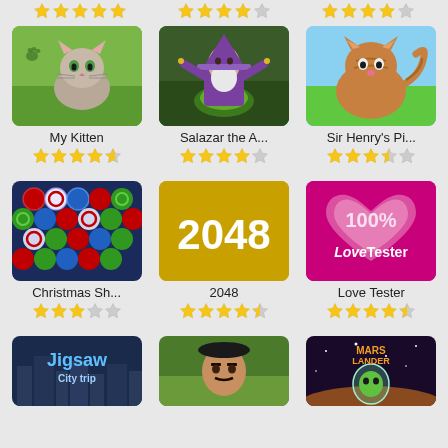[Figure (screenshot): App store grid of games. Top partial row shows star ratings. Second row: My Kitten (4.5 stars), Salazar the A... (4 stars), Sir Henry's Pi... (3.5 stars). Third row: Christmas Sh... (3 stars), 2048 (4 stars), Love Tester (4.5 stars). Bottom partial row: Jigsaw City trip, a battle game, Mars Lander.]